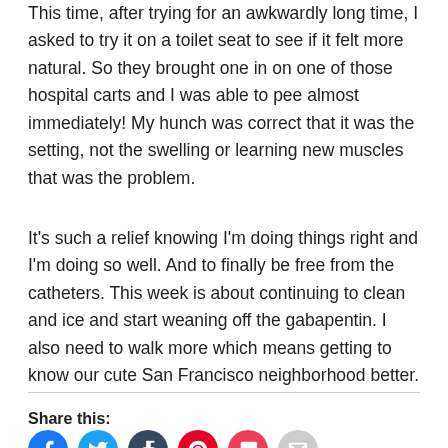This time, after trying for an awkwardly long time, I asked to try it on a toilet seat to see if it felt more natural. So they brought one in on one of those hospital carts and I was able to pee almost immediately! My hunch was correct that it was the setting, not the swelling or learning new muscles that was the problem.
It’s such a relief knowing I’m doing things right and I’m doing so well. And to finally be free from the catheters. This week is about continuing to clean and ice and start weaning off the gabapentin. I also need to walk more which means getting to know our cute San Francisco neighborhood better.
Share this: